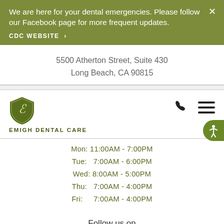We are here for your dental emergencies. Please follow our Facebook page for more frequent updates.
CDC WEBSITE >
5500 Atherton Street, Suite 430
Long Beach, CA 90815
[Figure (logo): Emigh Dental Care shield logo with stylized E]
EMIGH DENTAL CARE
Mon: 11:00AM - 7:00PM
Tue:  7:00AM - 6:00PM
Wed: 8:00AM - 5:00PM
Thu:  7:00AM - 4:00PM
Fri:   7:00AM - 4:00PM
Follow us on
Instagram